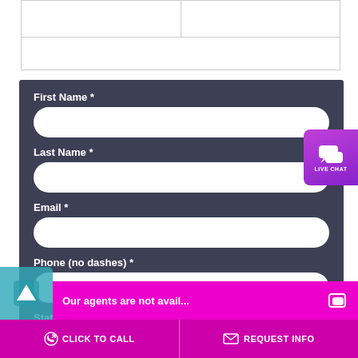|  |  |
|  |
[Figure (screenshot): Web form with dark blue-gray background containing fields: First Name, Last Name, Email, Phone (no dashes), State — all with white rounded input boxes. A purple Live Chat badge appears on the right side.]
First Name *
Last Name *
Email *
Phone (no dashes) *
State *
LIVE CHAT
Our agents are not avail...
CLICK TO CALL
REQUEST INFO